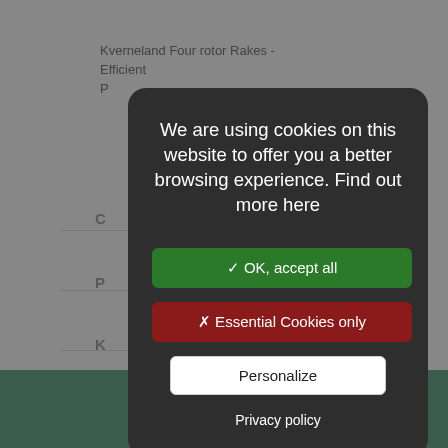Kverneland Four rotor Rakes - Efficient P...
[Figure (screenshot): Website background showing Kverneland page with cookie consent modal overlay. Modal has dark rounded rectangle with white text, green accept button, red essential-only button, white personalize button, and privacy policy link. Bottom shows green Kverneland group footer with logo.]
We are using cookies on this website to offer you a better browsing experience. Find out more here
✓ OK, accept all
✗ Essential Cookies only
Personalize
Privacy policy